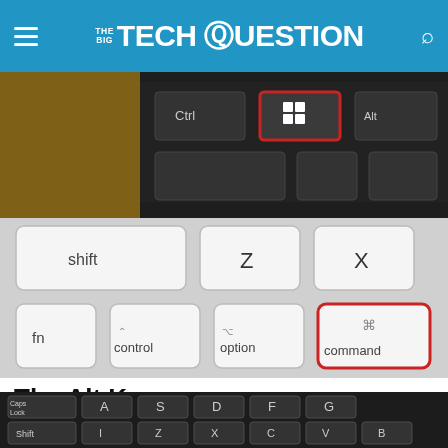THE BIG TECH QUESTION
[Figure (photo): Close-up of a Windows keyboard showing Ctrl key and Windows key highlighted with a red border]
[Figure (photo): Mac keyboard showing shift, Z, X keys on top row and fn, control, option, command keys on bottom row, with command key highlighted by a red border]
The Alt Key
The Alt key replaces the Option key.
[Figure (photo): Black PC keyboard showing Caps Lock, A, S, D, F, G keys on one row and Shift, I, Z, X, C, V, B on another row]